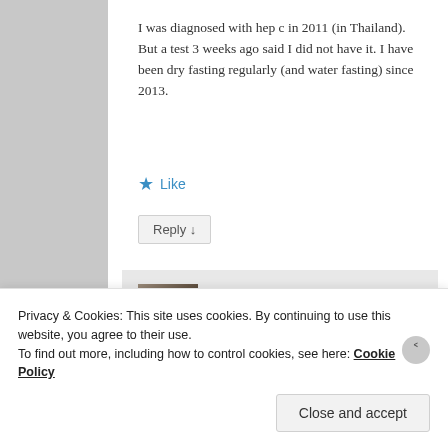I was diagnosed with hep c in 2011 (in Thailand). But a test 3 weeks ago said I did not have it. I have been dry fasting regularly (and water fasting) since 2013.
★ Like
Reply ↓
esmeelafleur on September 22, 2016 at 12:29 PM said:
Privacy & Cookies: This site uses cookies. By continuing to use this website, you agree to their use.
To find out more, including how to control cookies, see here: Cookie Policy
Close and accept